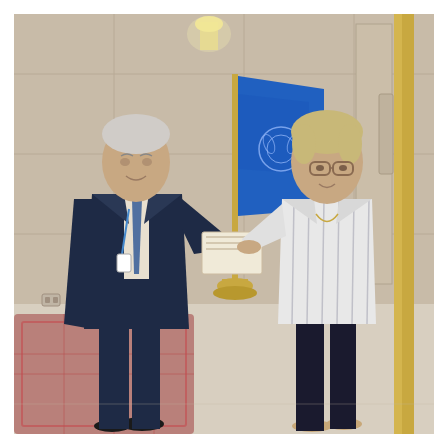[Figure (photo): A formal credential ceremony in what appears to be a UN office. A man in a dark navy suit holding an ID badge extends a document toward a woman in a white striped blazer and dark trousers. Between them in the background stands a United Nations blue flag on a gold base. The room has beige paneled walls, warm lighting from a wall sconce, a patterned carpet, and gold door trim on the right.]